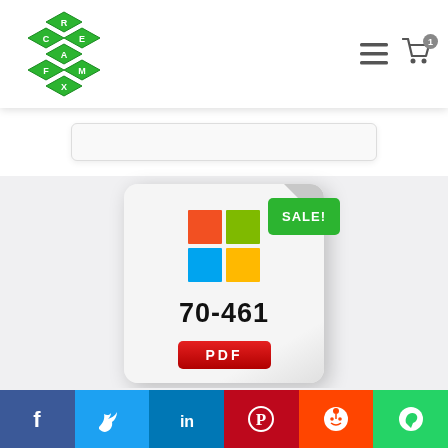CReam EXam logo with navigation icons and cart
[Figure (screenshot): Search bar area below header]
[Figure (illustration): Product card showing Microsoft 70-461 exam PDF with SALE! badge, Microsoft logo (four colored squares), exam code 70-461, and PDF label]
DATA , MICROSOFT
[Figure (infographic): Social sharing bar with Facebook, Twitter, LinkedIn, Pinterest, Reddit, WhatsApp buttons]